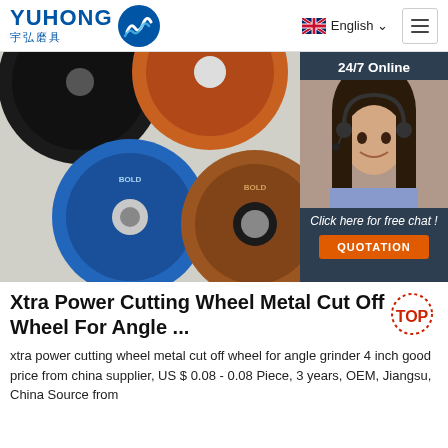YUHONG 宇弘磨具 | English | Nav
[Figure (photo): Product photo showing multiple grinding/cutting wheels on a light surface. An overlay on the right shows a 24/7 customer service chat widget with a photo of a smiling woman wearing a headset, text 'Click here for free chat!' and an orange QUOTATION button.]
Xtra Power Cutting Wheel Metal Cut Off Wheel For Angle ...
xtra power cutting wheel metal cut off wheel for angle grinder 4 inch good price from china supplier, US $ 0.08 - 0.08 Piece, 3 years, OEM, Jiangsu, China Source from